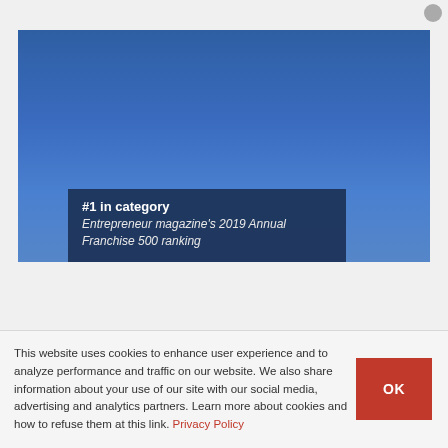[Figure (photo): Blue sky photo with a dark navy overlay box in the lower portion containing text '#1 in category' and 'Entrepreneur magazine's 2019 Annual Franchise 500 ranking']
This website uses cookies to enhance user experience and to analyze performance and traffic on our website. We also share information about your use of our site with our social media, advertising and analytics partners. Learn more about cookies and how to refuse them at this link. Privacy Policy